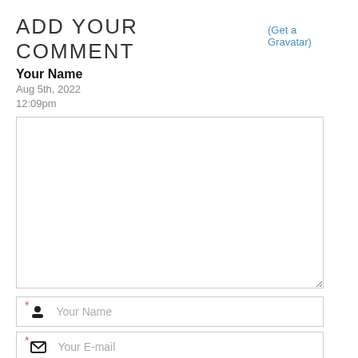ADD YOUR COMMENT (Get a Gravatar)
Your Name
Aug 5th, 2022
12:09pm
[Figure (other): Comment text input textarea (empty)]
[Figure (other): Your Name input field with person icon and required star]
[Figure (other): Your E-mail input field with email icon and required star]
[Figure (other): Your Website (Optional) input field with link icon]
Your email address will not be published. Required fields are marked *